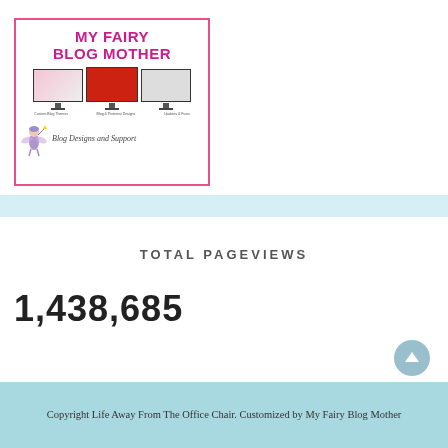[Figure (logo): My Fairy Blog Mother logo banner with pink border, bold magenta title text, three monitor screenshots, a fairy illustration, and tagline 'Blog Designs and Support']
TOTAL PAGEVIEWS
1,438,685
Copyright Life Away From The Office Chair. Customized by My Fairy Blog Mother